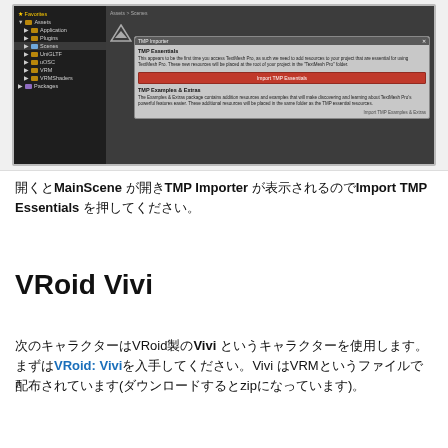[Figure (screenshot): Unity Editor screenshot showing the Project panel with Assets folder tree on the left (Favorites, Assets > Application, Plugins, Scenes, UniGLTF, uOSC, VRM, VRMShaders, Packages) and the TMP Importer dialog on the right. The dialog shows TMP Essentials section with an 'Import TMP Essentials' red button, and TMP Examples & Extras section below.]
開くとMainScene が開きTMP Importer が表示されるのでImport TMP Essentials を押してください。
VRoid Vivi
次のキャラクターはVRoid製のViviというキャラクターを使用します。まずはVRoid: Viviを入手してください。Vivi はVRMというファイルで配布されています(ダウンロードするとzipになっています)。